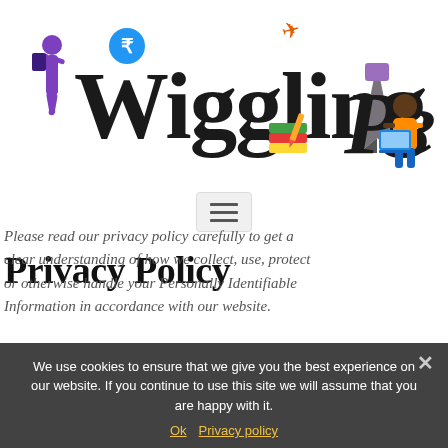[Figure (logo): WigglingPen logo with stylized text, pen nib, books, rupee symbol, airplane, and illustrated characters in purple, orange, and black]
[Figure (other): Hamburger/menu button with three horizontal lines on a light grey background]
Privacy Policy
Please read our privacy policy carefully to get a clear understanding of how we collect, use, protect or otherwise handle your Personally Identifiable Information in accordance with our website.
We use cookies to ensure that we give you the best experience on our website. If you continue to use this site we will assume that you are happy with it.